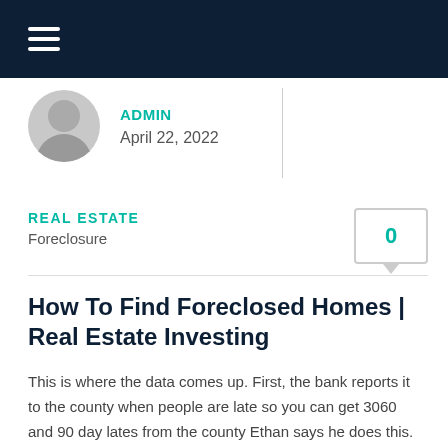≡
ADMIN
April 22, 2022
REAL ESTATE
Foreclosure
0
How To Find Foreclosed Homes | Real Estate Investing
This is where the data comes up. First, the bank reports it to the county when people are late so you can get 3060 and 90 day lates from the county Ethan says he does this. He says I do this in Tulsa, Oklahoma works great. Then I use true people